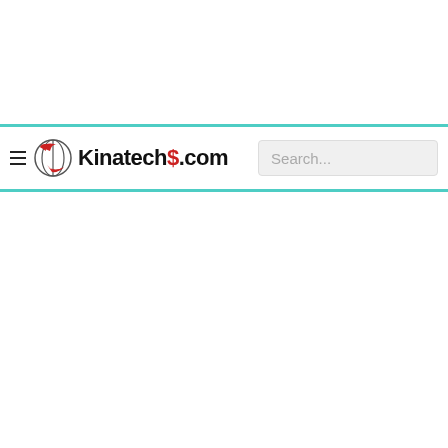[Figure (logo): Kinatech$ .com website header logo with globe/arrow icon in red and black, alongside a search bar]
Search...